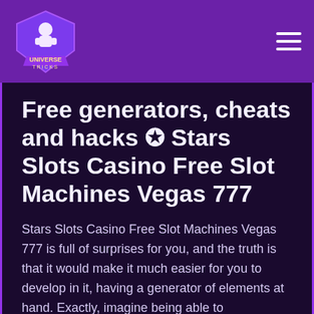[Figure (logo): Universe Tricks logo: purple shield/diamond shape with a character and text 'UNIVERSE TRICKS']
Free generators, cheats and hacks ✪ Stars Slots Casino Free Slot Machines Vegas 777
Stars Slots Casino Free Slot Machines Vegas 777 is full of surprises for you, and the truth is that it would make it much easier for you to develop in it, having a generator of elements at hand. Exactly, imagine being able to continuously generate that element for which you continually give your life to